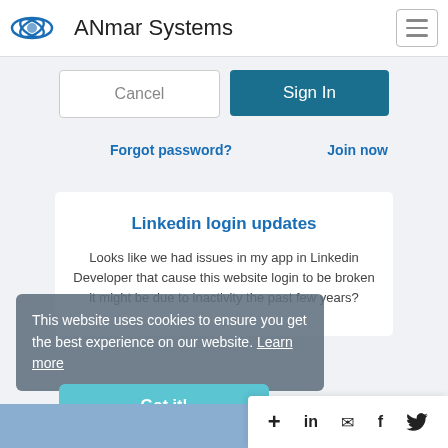ANmar Systems
[Figure (screenshot): Cancel and Sign In buttons on a login form. Cancel button is white with grey text; Sign In button is dark teal with white text.]
Forgot password?
Join now
Linkedin login updates
Looks like we had issues in my app in Linkedin Developer that cause this website login to be broken it might be due to inactivity the past few years?
This website uses cookies to ensure you get the best experience on our website. Learn more
[Figure (screenshot): Got it! button in teal color and social sharing icons bar (plus, linkedin, email, facebook, twitter) on white background]